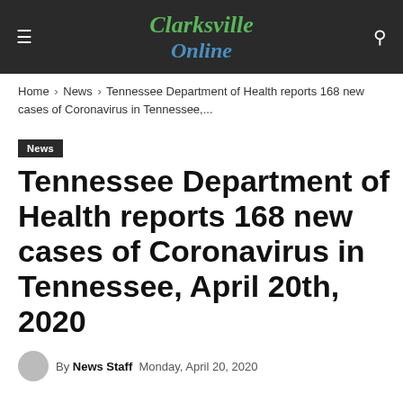Clarksville Online
Home › News › Tennessee Department of Health reports 168 new cases of Coronavirus in Tennessee,...
News
Tennessee Department of Health reports 168 new cases of Coronavirus in Tennessee, April 20th, 2020
By News Staff   Monday, April 20, 2020